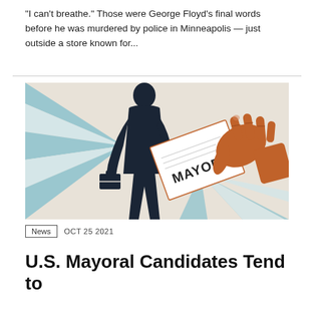“I can’t breathe.” Those were George Floyd’s final words before he was murdered by police in Minneapolis — just outside a store known for...
[Figure (illustration): Illustration showing a dark silhouette of a person in a suit holding a briefcase on the left, and an orange-drawn hand holding a ballot/card labeled MAYOR on the right, with light blue radiating lines in the background on a beige/light textured background.]
News   OCT 25 2021
U.S. Mayoral Candidates Tend to